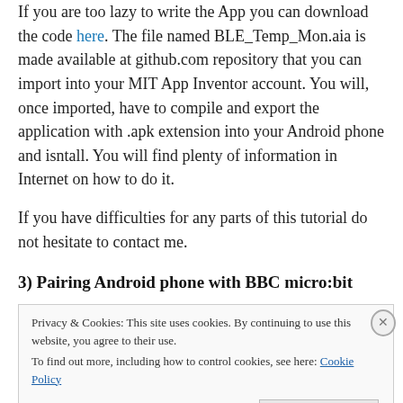If you are too lazy to write the App you can download the code here. The file named BLE_Temp_Mon.aia is made available at github.com repository that you can import into your MIT App Inventor account. You will, once imported, have to compile and export the application with .apk extension into your Android phone and isntall. You will find plenty of information in Internet on how to do it.
If you have difficulties for any parts of this tutorial do not hesitate to contact me.
3) Pairing Android phone with BBC micro:bit
Privacy & Cookies: This site uses cookies. By continuing to use this website, you agree to their use.
To find out more, including how to control cookies, see here: Cookie Policy